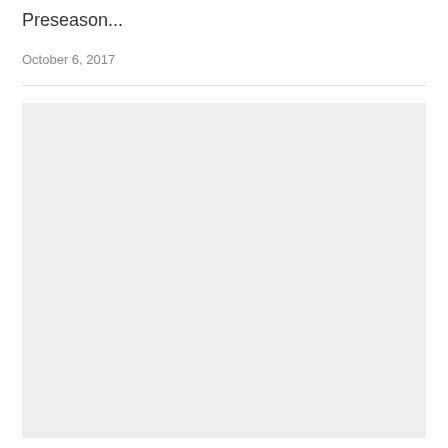Preseason...
October 6, 2017
[Figure (photo): Large light gray placeholder image block below a horizontal divider line]